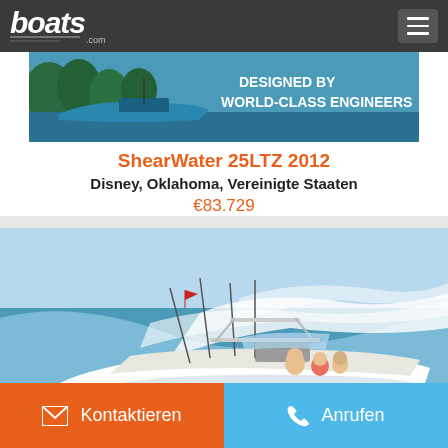boats.com
[Figure (photo): Advertisement banner showing a fishing boat on water with text 'DESIGNED BY WORLD-CLASS ENGINEERS']
ShearWater 25LTZ 2012
Disney, Oklahoma, Vereinigte Staaten
€83.729
[Figure (photo): White speedboat with fishing rods travelling at high speed on the water with spray, passengers aboard]
Kontaktieren
Anrufen